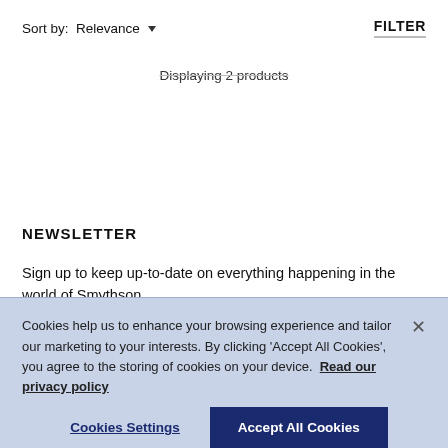Sort by: Relevance ▾    FILTER
Displaying 2 products
NEWSLETTER
Sign up to keep up-to-date on everything happening in the world of Smythson.
Cookies help us to enhance your browsing experience and tailor our marketing to your interests. By clicking 'Accept All Cookies', you agree to the storing of cookies on your device. Read our privacy policy
Cookies Settings
Accept All Cookies